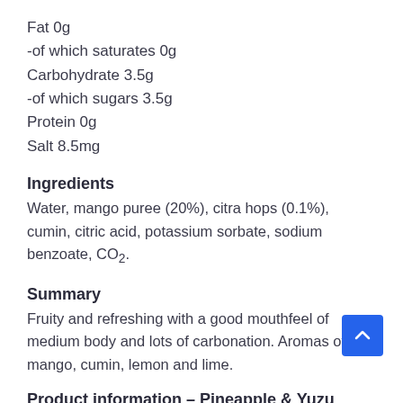Fat 0g
-of which saturates 0g
Carbohydrate 3.5g
-of which sugars 3.5g
Protein 0g
Salt 8.5mg
Ingredients
Water, mango puree (20%), citra hops (0.1%), cumin, citric acid, potassium sorbate, sodium benzoate, CO2.
Summary
Fruity and refreshing with a good mouthfeel of medium body and lots of carbonation. Aromas of mango, cumin, lemon and lime.
Product information – Pineapple & Yuzu